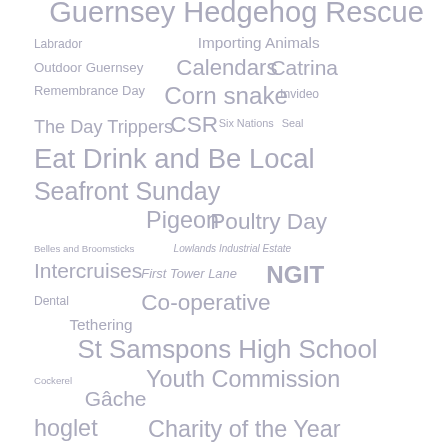[Figure (infographic): Tag cloud / word cloud with various terms in different font sizes and shades of gray, all on white background. Terms include: Guernsey Hedgehog Rescue, Labrador, Importing Animals, Outdoor Guernsey, Calendars, Catrina, Remembrance Day, Corn snake, Invideo, The Day Trippers, CSR, Six Nations, Seal, Eat Drink and Be Local, Seafront Sunday, Pigeon, Poultry Day, Belles and Broomsticks, Lowlands Industrial Estate, Intercruises, First Tower Lane, NGIT, Dental, Co-operative, Tethering, St Samspons High School, Cockerel, Youth Commission, Gâche, hoglet, Charity of the Year]